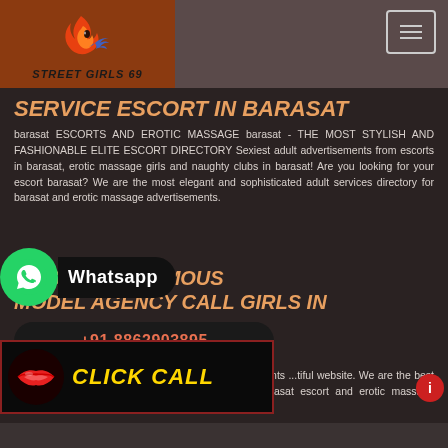[Figure (logo): Street Girls 69 logo with flame and bird icon on dark orange background]
Navigation hamburger menu icon
SERVICE ESCORT IN BARASAT
barasat ESCORTS AND EROTIC MASSAGE barasat - THE MOST STYLISH AND FASHIONABLE ELITE ESCORT DIRECTORY Sexiest adult advertisements from escorts in barasat, erotic massage girls and naughty clubs in barasat! Are you looking for your escort barasat? We are the most elegant and sophisticated adult services directory for barasat and erotic massage advertisements.
[Figure (infographic): WhatsApp green circle button with Whatsapp text label on black rounded rectangle]
...NGAL TOP FAMOUS MODEL AGENCY CALL GIRLS IN
[Figure (infographic): Phone number button: +91 8862903895 on black rounded rectangle]
Adultbarasat.com brings all the sexy adult advertisements ...tiful website. We are the best ...e and adult directory in baras... ...l individual barasat escort and erotic massage providers, escort agencies and erotic clubs
[Figure (infographic): CLICK CALL banner with red lips icon and yellow bold text on black background]
[Figure (infographic): Red notification circle with i icon]